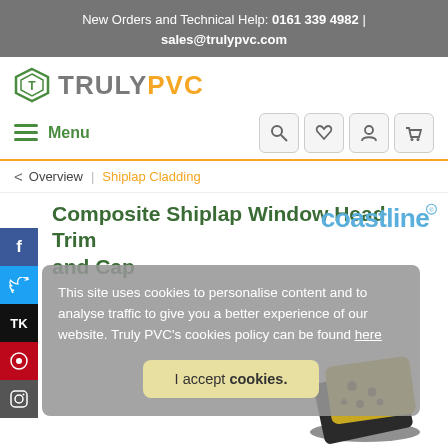New Orders and Technical Help: 0161 339 4982 | sales@trulypvc.com
[Figure (logo): Truly PVC logo with green shield icon and orange PVC text]
Menu
< Overview | Shiplap Cladding
Composite Shiplap Window Head Trim and Cap
[Figure (logo): Coastline brand logo in blue]
This site uses cookies to personalise content and to analyse traffic to give you a better experience of our website. Truly PVC's cookies policy can be found here
I accept cookies.
[Figure (illustration): Cookie biscuit illustration]